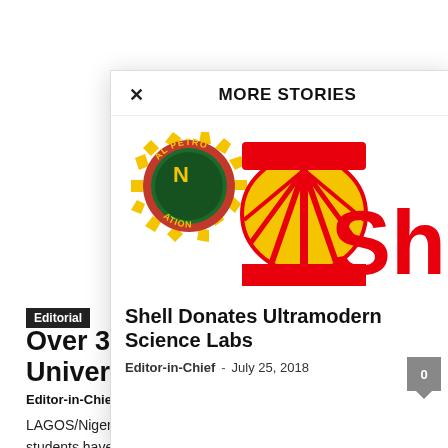Editorial
Over 350 N… Universities…
Editor-in-Chief -
LAGOS/Nigeria: N… students have benefitted from educational programmes in Brazil, the Consul General in Lagos, Mr Fransisco...
MORE STORIES
[Figure (logo): NNPC gear logo and Shell logo side by side]
Shell Donates Ultramodern Science Labs
Editor-in-Chief  -  July 25, 2018